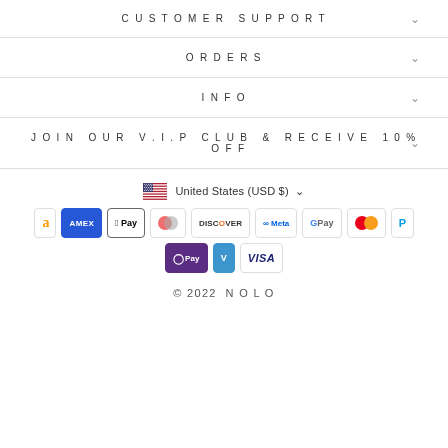CUSTOMER SUPPORT
ORDERS
INFO
JOIN OUR V.I.P CLUB & RECEIVE 10% OFF
United States (USD $)
[Figure (infographic): Payment method icons: Amazon, American Express, Apple Pay, Diners Club, Discover, Meta Pay, Google Pay, Mastercard, PayPal, OPay, Venmo, Visa]
© 2022 NOLO